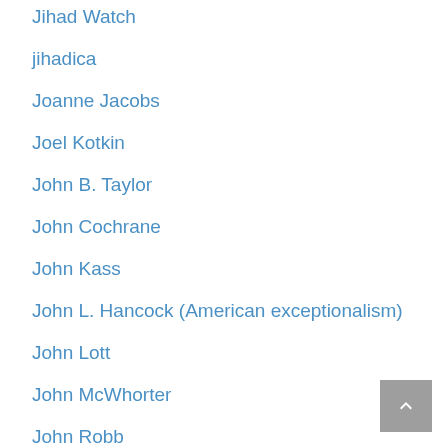Jihad Watch
jihadica
Joanne Jacobs
Joel Kotkin
John B. Taylor
John Cochrane
John Kass
John L. Hancock (American exceptionalism)
John Lott
John McWhorter
John Robb
John Wilkes Club
JoNova (science skeptic)
Jordan B. Peterson